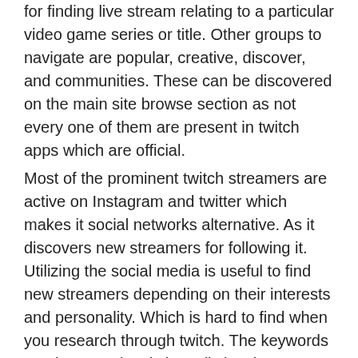for finding live stream relating to a particular video game series or title. Other groups to navigate are popular, creative, discover, and communities. These can be discovered on the main site browse section as not every one of them are present in twitch apps which are official.
Most of the prominent twitch streamers are active on Instagram and twitter which makes it social networks alternative. As it discovers new streamers for following it. Utilizing the social media is useful to find new streamers depending on their interests and personality. Which is hard to find when you research through twitch. The keywords used to search twitch easily involve streamer, twitch stream, and twitch streamer.
Where you can watch twitch online?
The streams of twitch streaming service on the web